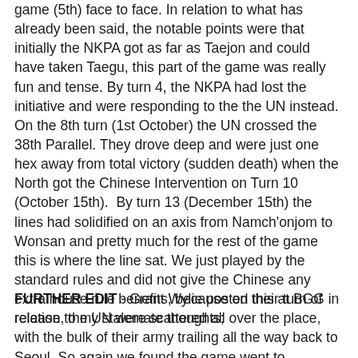game (5th) face to face. In relation to what has already been said, the notable points were that initially the NKPA got as far as Taejon and could have taken Taegu, this part of the game was really fun and tense. By turn 4, the NKPA had lost the initiative and were responding to the the UN instead. On the 8th turn (1st October) the UN crossed the 38th Parallel. They drove deep and were just one hex away from total victory (sudden death) when the North got the Chinese Intervention on Turn 10 (October 15th). By turn 13 (December 15th) the lines had solidified on an axis from Namch'onjom to Wonsan and pretty much for the rest of the game this is where the line sat. We just played by the standard rules and did not give the Chinese any extra house rule benefits, because on their turn of release, the UN were scattered all over the place, with the bulk of their army trailing all the way back to Seoul. So again we found the game went to stalemate as soon as the two forces solidified their lines. We have decided that we do need some sort of house rule for the next game.
FURTHER EDIT - Grant Wylie posted this at BGG in relation to my stalemate thoughts;